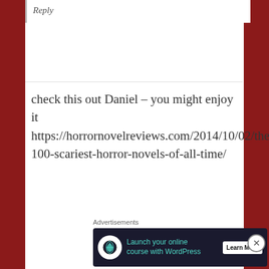Reply
check this out Daniel – you might enjoy it https://horrornovelreviews.com/2014/10/02/the-100-scariest-horror-novels-of-all-time/
Like
Mike Meyer // June 30, 2016 at 6:56 am //
Reply
Advertisements
[Figure (screenshot): Advertisement banner: Launch your online course with WordPress – Learn More button, dark background with teal text and tree icon]